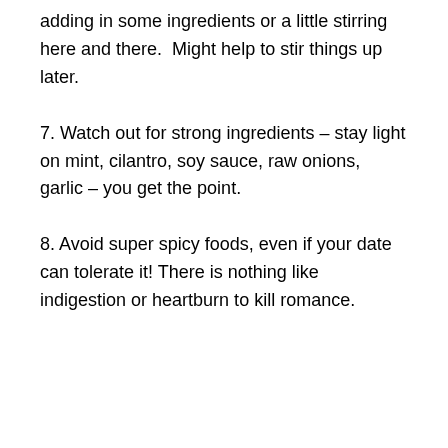adding in some ingredients or a little stirring here and there.  Might help to stir things up later.
7. Watch out for strong ingredients – stay light on mint, cilantro, soy sauce, raw onions, garlic – you get the point.
8. Avoid super spicy foods, even if your date can tolerate it! There is nothing like indigestion or heartburn to kill romance.